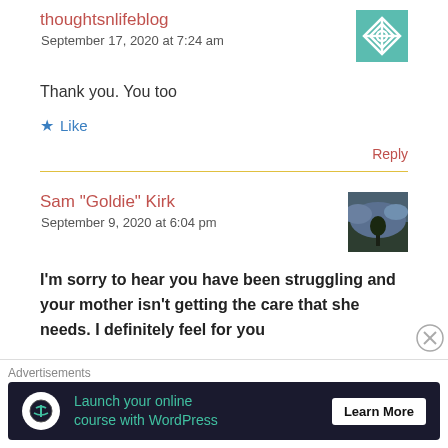thoughtsnlifeblog
September 17, 2020 at 7:24 am
Thank you. You too
Like
Reply
Sam "Goldie" Kirk
September 9, 2020 at 6:04 pm
I'm sorry to hear you have been struggling and your mother isn't getting the care that she needs. I definitely feel for you
Advertisements
Launch your online course with WordPress
Learn More